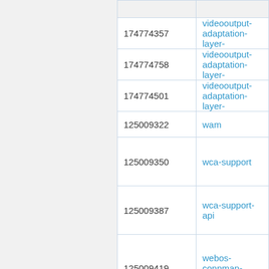| ID | Name |
| --- | --- |
| 174774357 | videooutput-adaptation-layer- |
| 174774758 | videooutput-adaptation-layer- |
| 174774501 | videooutput-adaptation-layer- |
| 125009322 | wam |
| 125009350 | wca-support |
| 125009387 | wca-support-api |
| 125009419 | webos-connman-adapter |
| 125009458 | webos-fontconfig-files |
| 125009488 | webos-fonts |